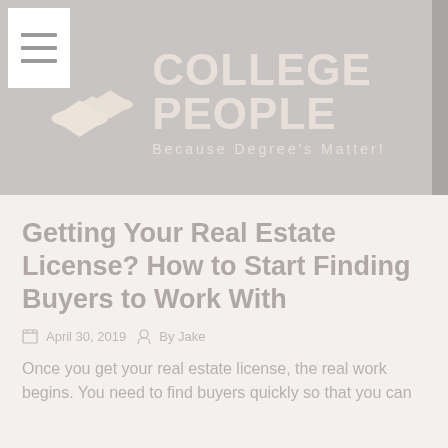[Figure (logo): College People logo with mortarboard hat icons and text 'COLLEGE PEOPLE - Because Degree's Matter!']
Getting Your Real Estate License? How to Start Finding Buyers to Work With
April 30, 2019  By Jake
Once you get your real estate license, the real work begins. You need to find buyers quickly so that you can